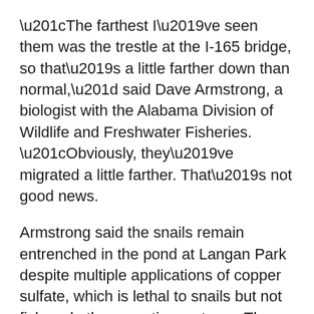“The farthest I’ve seen them was the trestle at the I-165 bridge, so that’s a little farther down than normal,” said Dave Armstrong, a biologist with the Alabama Division of Wildlife and Freshwater Fisheries. “Obviously, they’ve migrated a little farther. That’s not good news.
Armstrong said the snails remain entrenched in the pond at Langan Park despite multiple applications of copper sulfate, which is lethal to snails but not fish and other aquatic creatures. The numbers in the pond are way down from the high point two years ago, he said, but the pond remains a breeding ground.
When wildlife officials realized that baseball-sized Amazonian snails had colonized the pond, their worst-case scenario involved the giant gastropods escaping into Three Mile Creek. Biologists fear the non-native snails